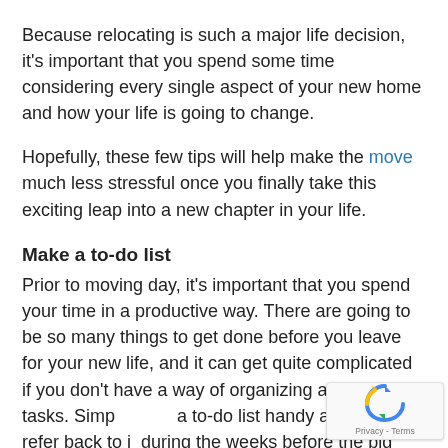Because relocating is such a major life decision, it's important that you spend some time considering every single aspect of your new home and how your life is going to change.
Hopefully, these few tips will help make the move much less stressful once you finally take this exciting leap into a new chapter in your life.
Make a to-do list
Prior to moving day, it's important that you spend your time in a productive way. There are going to be so many things to get done before you leave for your new life, and it can get quite complicated if you don't have a way of organizing all those tasks. Simply keep a to-do list handy and regularly refer back to it during the weeks before the big move.